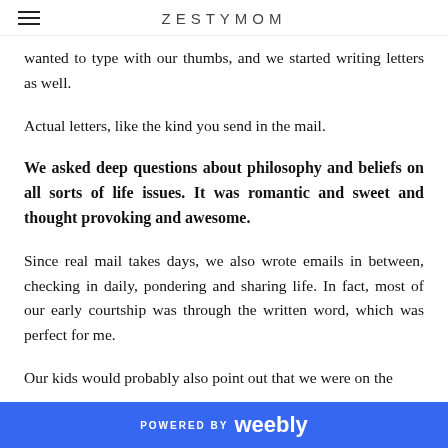ZESTYMOM
wanted to type with our thumbs, and we started writing letters as well.
Actual letters, like the kind you send in the mail.
We asked deep questions about philosophy and beliefs on all sorts of life issues. It was romantic and sweet and thought provoking and awesome.
Since real mail takes days, we also wrote emails in between, checking in daily, pondering and sharing life. In fact, most of our early courtship was through the written word, which was perfect for me.
Our kids would probably also point out that we were on the
POWERED BY weebly